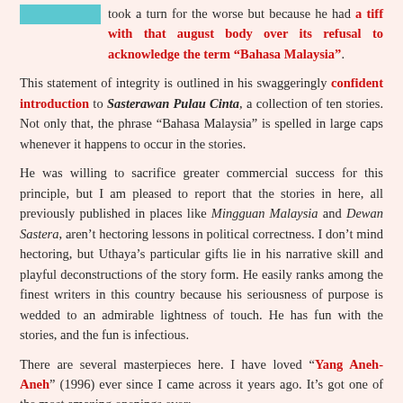took a turn for the worse but because he had a tiff with that august body over its refusal to acknowledge the term “Bahasa Malaysia”.
This statement of integrity is outlined in his swaggeringly confident introduction to Sasterawan Pulau Cinta, a collection of ten stories. Not only that, the phrase “Bahasa Malaysia” is spelled in large caps whenever it happens to occur in the stories.
He was willing to sacrifice greater commercial success for this principle, but I am pleased to report that the stories in here, all previously published in places like Mingguan Malaysia and Dewan Sastera, aren’t hectoring lessons in political correctness. I don’t mind hectoring, but Uthaya’s particular gifts lie in his narrative skill and playful deconstructions of the story form. He easily ranks among the finest writers in this country because his seriousness of purpose is wedded to an admirable lightness of touch. He has fun with the stories, and the fun is infectious.
There are several masterpieces here. I have loved “Yang Aneh-Aneh” (1996) ever since I came across it years ago. It’s got one of the most amazing openings ever: